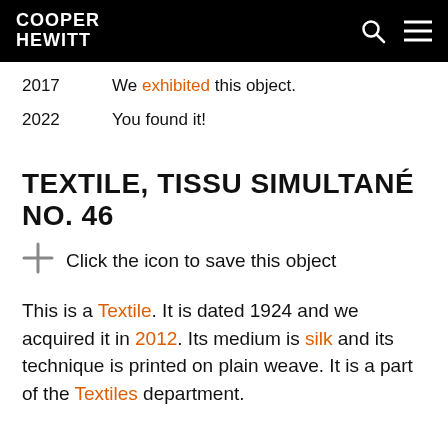COOPER HEWITT
2017   We exhibited this object.
2022   You found it!
TEXTILE, TISSU SIMULTANÉ NO. 46
Click the icon to save this object
This is a Textile. It is dated 1924 and we acquired it in 2012. Its medium is silk and its technique is printed on plain weave. It is a part of the Textiles department.